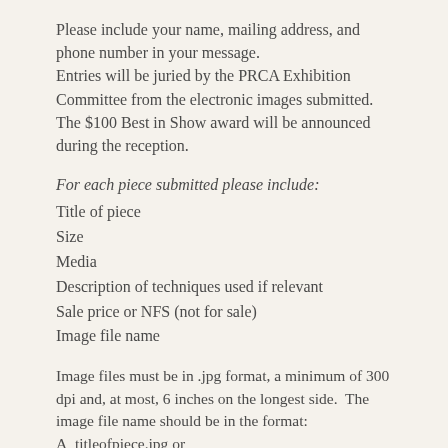Please include your name, mailing address, and phone number in your message.
Entries will be juried by the PRCA Exhibition Committee from the electronic images submitted.
The $100 Best in Show award will be announced during the reception.
For each piece submitted please include:
Title of piece
Size
Media
Description of techniques used if relevant
Sale price or NFS (not for sale)
Image file name
Image files must be in .jpg format, a minimum of 300 dpi and, at most, 6 inches on the longest side.  The image file name should be in the format: A_titleofpiece.jpg or